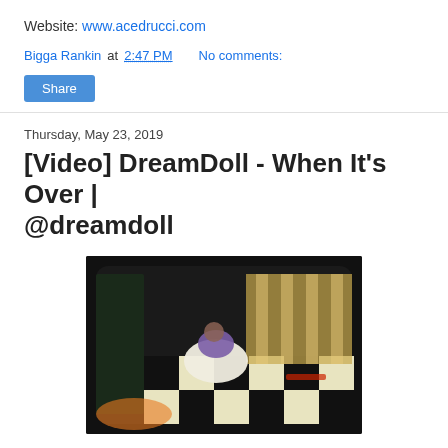Website: www.acedrucci.com
Bigga Rankin at 2:47 PM   No comments:
Share
Thursday, May 23, 2019
[Video] DreamDoll - When It's Over | @dreamdoll
[Figure (photo): Video thumbnail for DreamDoll - When It's Over music video, showing a woman in a white and purple outfit on a black and white checkered floor in an ornate room with gold decor.]
In honor of Mental Awareness Month, I decided to release this music video. After shooting it, I decided not to release it